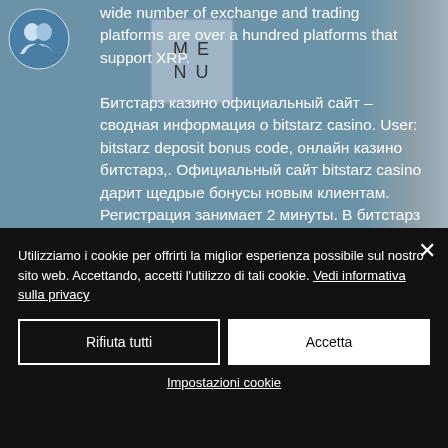[Figure (logo): Circular logo with blue background and profile silhouette icon, top-left corner]
wide number of exchange and trading platforms are over a hundred platforms that support XRP. Битстарз казино официальный сайт – сводная информация о bitstarz casino. User: bitstarz deposit bonus code, онлайн казино битстарз,. Официальный сайт bitstarz casino дарит щедрые бонусы новым клиентам. Регистрация занимает 2 минуты. В битстарз казино есть бездепозитный бонус за. User: bitstarz бездепозитный бонус промокод, bitstarz казино официальный сайт бонус код,.
Utilizziamo i cookie per offrirti la miglior esperienza possibile sul nostro sito web. Accettando, accetti l'utilizzo di tali cookie. Vedi informativa sulla privacy
Rifiuta tutti
Accetta
Impostazioni cookie